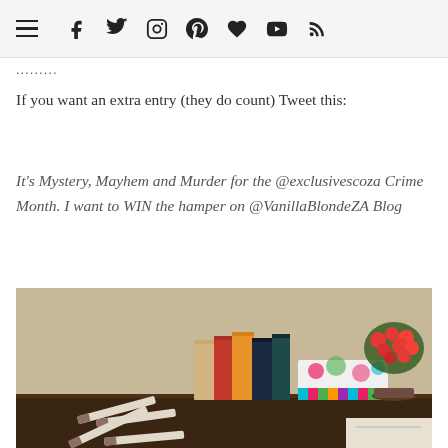Navigation bar with hamburger menu and social icons: Facebook, Twitter, Instagram, Pinterest, Bloglovin, YouTube, RSS
......
If you want an extra entry (they do count) Tweet this:
It's Mystery, Mayhem and Murder for the @exclusivescoza Crime Month. I want to WIN the hamper on @VanillaBlondeZA Blog
[Figure (photo): A dark wooden shelf displaying several crime/mystery novels standing upright, a colorful polka-dot and striped gift box, a potted red kalanchoe flower, and paper knife cut-outs laid in front of the books.]